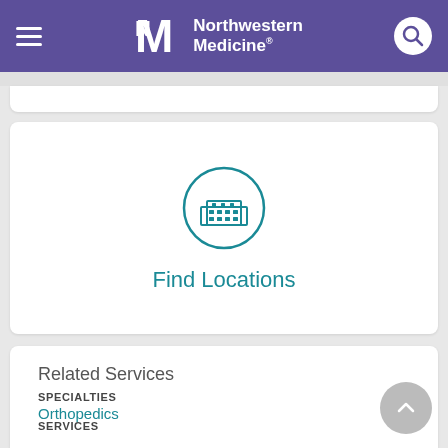Northwestern Medicine
[Figure (logo): Northwestern Medicine logo with stylized NM monogram and hospital building icon for Find Locations]
Find Locations
Related Services
SPECIALTIES
Orthopedics
SERVICES
Orthopaedic Surgery